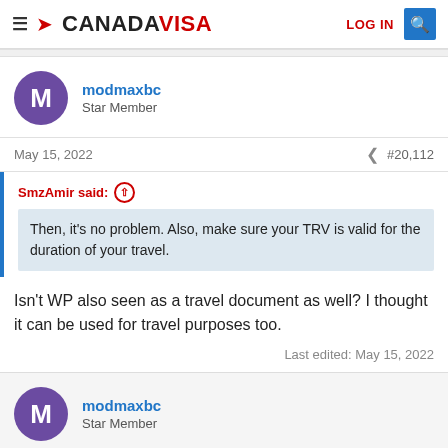CANADA VISA — LOG IN
modmaxbc
Star Member
May 15, 2022  #20,112
SmzAmir said:
Then, it's no problem. Also, make sure your TRV is valid for the duration of your travel.
Isn't WP also seen as a travel document as well? I thought it can be used for travel purposes too.
Last edited: May 15, 2022
modmaxbc
Star Member